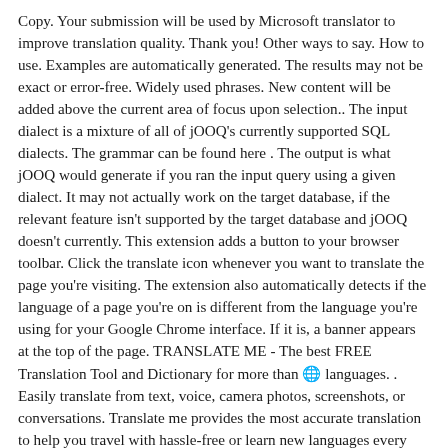Copy. Your submission will be used by Microsoft translator to improve translation quality. Thank you! Other ways to say. How to use. Examples are automatically generated. The results may not be exact or error-free. Widely used phrases. New content will be added above the current area of focus upon selection.. The input dialect is a mixture of all of jOOQ's currently supported SQL dialects. The grammar can be found here . The output is what jOOQ would generate if you ran the input query using a given dialect. It may not actually work on the target database, if the relevant feature isn't supported by the target database and jOOQ doesn't currently. This extension adds a button to your browser toolbar. Click the translate icon whenever you want to translate the page you're visiting. The extension also automatically detects if the language of a page you're on is different from the language you're using for your Google Chrome interface. If it is, a banner appears at the top of the page. TRANSLATE ME - The best FREE Translation Tool and Dictionary for more than 🌐 languages. . Easily translate from text, voice, camera photos, screenshots, or conversations. Translate me provides the most accurate translation to help you travel with hassle-free or learn new languages every day. 🎹 Text translation: Free translations in over. Google's free service instantly translates words, phrases, and web pages between English and over 100 other languages. Use it to convert, count, manipulate, review and debug texts. Tools that you can expand, adapt and grow. Download Now Version 3.7.3 ... It's free! Format...